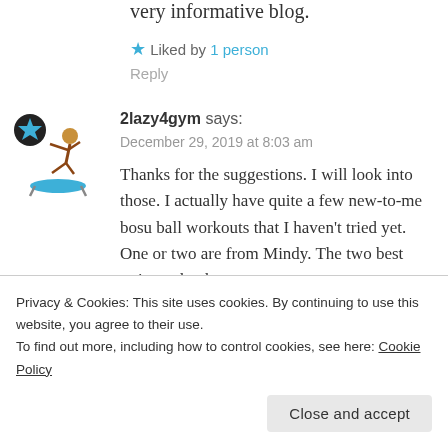very informative blog.
★ Liked by 1 person
Reply
[Figure (illustration): Avatar of user 2lazy4gym: a person jumping on a trampoline, with a circular badge with a star icon overlay]
2lazy4gym says:
December 29, 2019 at 8:03 am
Thanks for the suggestions. I will look into those. I actually have quite a few new-to-me bosu ball workouts that I haven't tried yet. One or two are from Mindy. The two best trainers that have
my blog if you ever want to check them
Privacy & Cookies: This site uses cookies. By continuing to use this website, you agree to their use.
To find out more, including how to control cookies, see here: Cookie Policy
Close and accept